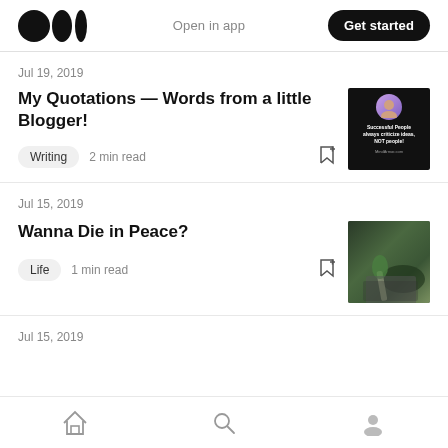Medium logo | Open in app | Get started
Jul 19, 2019
My Quotations — Words from a little Blogger!
Writing  2 min read
[Figure (photo): Dark card with avatar and text: Successful People always criticize ideas, NOT people! MindArmor.com]
Jul 15, 2019
Wanna Die in Peace?
Life  1 min read
[Figure (photo): Close-up photo of a hand on a keyboard or plant, green tones]
Jul 15, 2019